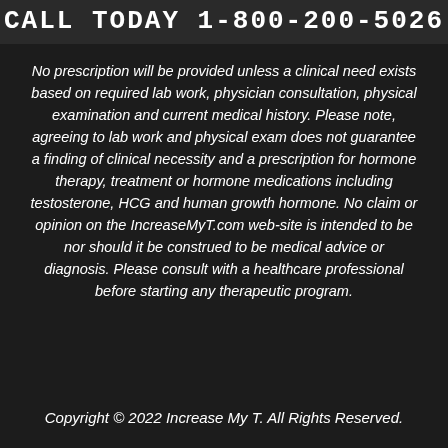CALL TODAY 1-800-200-5026
No prescription will be provided unless a clinical need exists based on required lab work, physician consultation, physical examination and current medical history. Please note, agreeing to lab work and physical exam does not guarantee a finding of clinical necessity and a prescription for hormone therapy, treatment or hormone medications including testosterone, HCG and human growth hormone. No claim or opinion on the IncreaseMyT.com web-site is intended to be nor should it be construed to be medical advice or diagnosis. Please consult with a healthcare professional before starting any therapeutic program.
Copyright © 2022 Increase My T. All Rights Reserved.